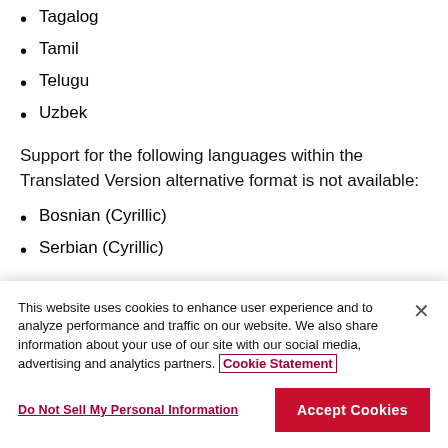Tagalog
Tamil
Telugu
Uzbek
Support for the following languages within the Translated Version alternative format is not available:
Bosnian (Cyrillic)
Serbian (Cyrillic)
This website uses cookies to enhance user experience and to analyze performance and traffic on our website. We also share information about your use of our site with our social media, advertising and analytics partners. Cookie Statement
Do Not Sell My Personal Information
Accept Cookies